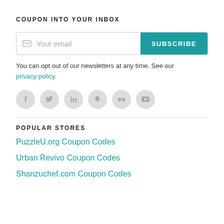COUPON INTO YOUR INBOX
[Figure (other): Email subscription input field with placeholder 'Your email' and a teal SUBSCRIBE button]
You can opt out of our newsletters at any time. See our privacy policy.
[Figure (other): Row of 6 circular social media icons: Facebook, Twitter, LinkedIn, Mastodon, Flickr, YouTube]
POPULAR STORES
PuzzleU.org Coupon Codes
Urban Revivo Coupon Codes
Shanzuchef.com Coupon Codes